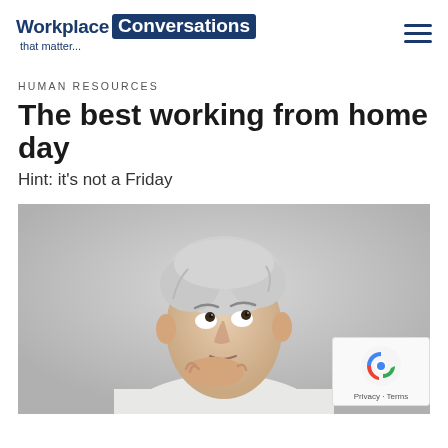Workplace Conversations that matter...
HUMAN RESOURCES
The best working from home day
Hint: it's not a Friday
[Figure (photo): An elderly man with white hair looking upward thoughtfully, chin resting on hand, against a grey background]